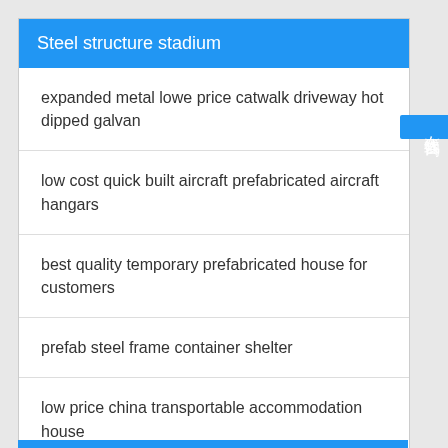Steel structure stadium
expanded metal lowe price catwalk driveway hot dipped galvan
low cost quick built aircraft prefabricated aircraft hangars
best quality temporary prefabricated house for customers
prefab steel frame container shelter
low price china transportable accommodation house
flow glass greenhouse for agriculture farm